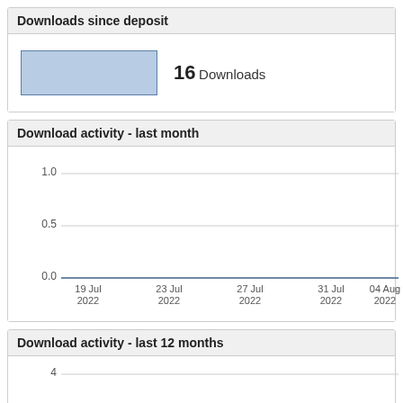Downloads since deposit
16 Downloads
Download activity - last month
[Figure (line-chart): Download activity - last month]
Download activity - last 12 months